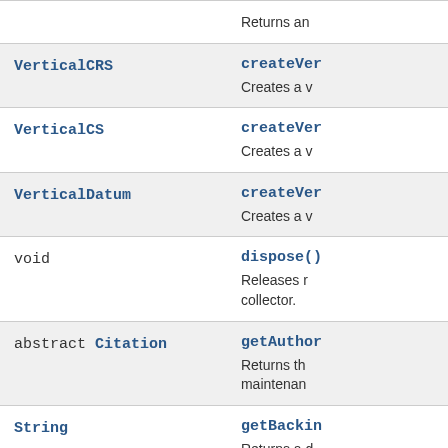| Type | Method/Description |
| --- | --- |
|  | Returns an... |
| VerticalCRS | createVer...
Creates a v... |
| VerticalCS | createVer...
Creates a v... |
| VerticalDatum | createVer...
Creates a v... |
| void | dispose()
Releases r... collector. |
| abstract Citation | getAuthor...
Returns th... maintenan... |
| String | getBackin...
Returns a ... unknown. |
| IdentifiedObjectFinder | getIdenti... |